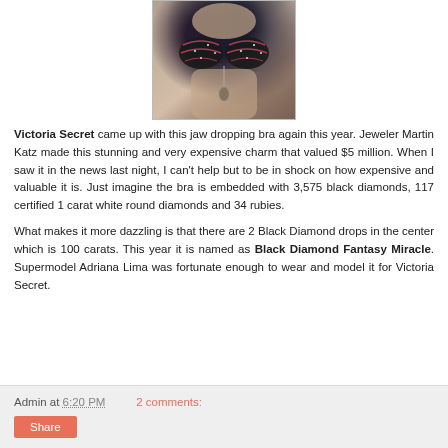[Figure (photo): Close-up photo of a model wearing a jeweled luxury bra (Victoria Secret Black Diamond Fantasy Miracle), showing torso area with ornate black and pink gem-encrusted bra with decorative pendant.]
Victoria Secret came up with this jaw dropping bra again this year. Jeweler Martin Katz made this stunning and very expensive charm that valued $5 million. When I saw it in the news last night, I can't help but to be in shock on how expensive and valuable it is. Just imagine the bra is embedded with 3,575 black diamonds, 117 certified 1 carat white round diamonds and 34 rubies.
What makes it more dazzling is that there are 2 Black Diamond drops in the center which is 100 carats. This year it is named as Black Diamond Fantasy Miracle. Supermodel Adriana Lima was fortunate enough to wear and model it for Victoria Secret.
Admin at 6:20 PM   2 comments:
Share